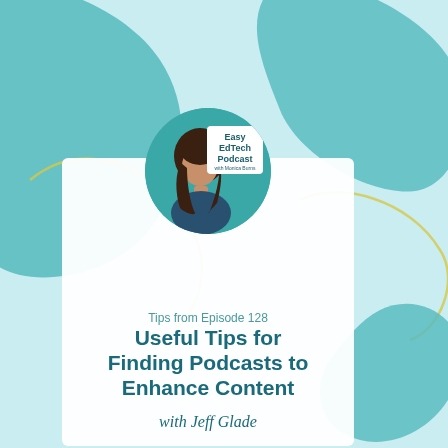[Figure (illustration): Podcast cover art with teal blob shapes, a circular logo for Easy EdTech Podcast with Monica Burns, a portrait photo of a woman, and text describing Episode 128]
Easy EdTech Podcast
Tips from Episode 128
Useful Tips for Finding Podcasts to Enhance Content
with Jeff Glade